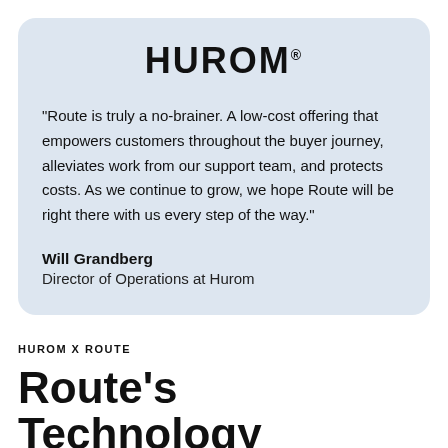[Figure (logo): Hurom brand logo in uppercase bold text with registered trademark symbol]
“Route is truly a no-brainer. A low-cost offering that empowers customers throughout the buyer journey, alleviates work from our support team, and protects costs. As we continue to grow, we hope Route will be right there with us every step of the way.”
Will Grandberg
Director of Operations at Hurom
HUROM X ROUTE
Route’s Technology